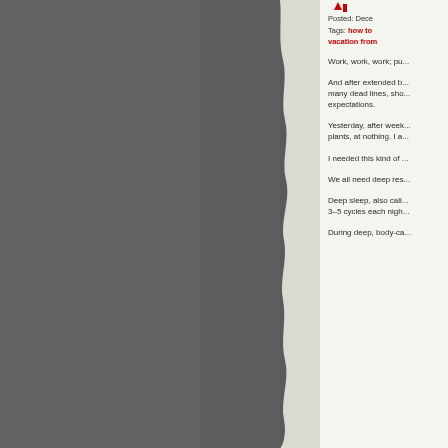[Figure (photo): Dark gray/charcoal textured background on the left side of the page, resembling a torn paper or stone wall texture.]
Posted: Dece...
Tags: how to ... vacation from...
Work, work, work; pu...
And after extended b... many dead lines, sho... expectations.
Yesterday, after week... plants, at nothing. I a...
I needed this kind of ...
We all need deep res...
Deep sleep, also call... 3–5 cycles each nigh...
During deep, body-ca...